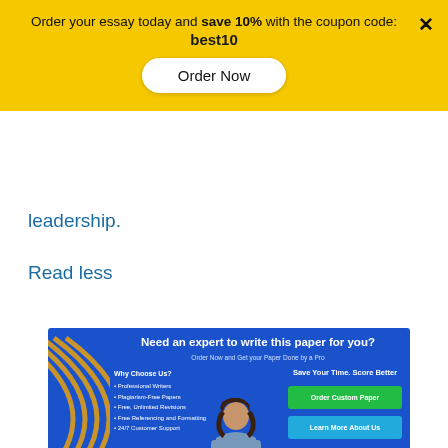Order your essay today and save 10% with the coupon code: best10
Order Now
leadership.
Read less
[Figure (infographic): Advertisement banner with blue background. Header: 'Need an expert to write this paper for you? Order Now and Get your Paper Done by a Pro'. Left side: Why Choose Us? bullet list including Professional Writers, Plagiarism-Free Papers, Free Unlimited Revisions, Free Referencing and Formatting, 24/7 Customer Support. Center: photo of female student. Right: 'Save Your Time. Score Better' with green 'Order Custom Paper' button and cyan 'Learn More About Us' button. Gold arc decorations on left.]